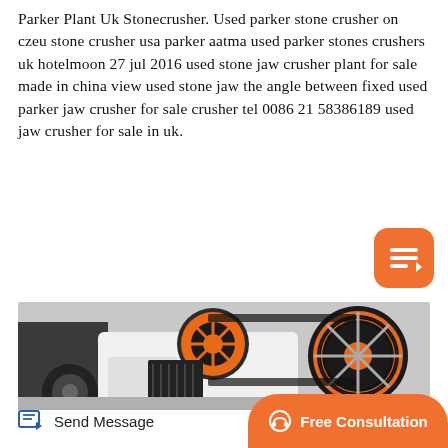Parker Plant Uk Stonecrusher. Used parker stone crusher on czeu stone crusher usa parker aatma used parker stones crushers uk hotelmoon 27 jul 2016 used stone jaw crusher plant for sale made in china view used stone jaw the angle between fixed used parker jaw crusher for sale crusher tel 0086 21 58386189 used jaw crusher for sale in uk.
[Figure (photo): A jaw crusher machine with orange and black flywheel/pulley wheels, white body, corrugated crusher plates, parked outdoors near a truck.]
Send Message   Free Consultation